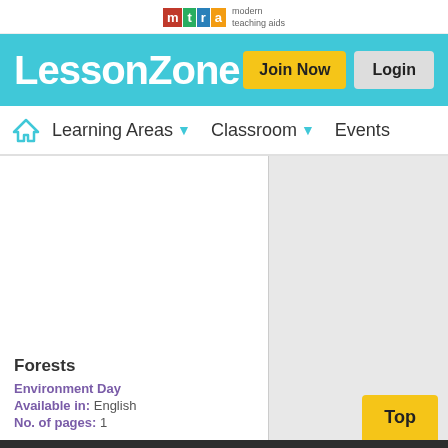[Figure (logo): MTA modern teaching aids logo at top center]
LessonZone — Join Now | Login
Learning Areas ▼   Classroom ▼   Events
Forests
Environment Day
Available in: English
No. of pages: 1
About Us   Lesson Zone   Help